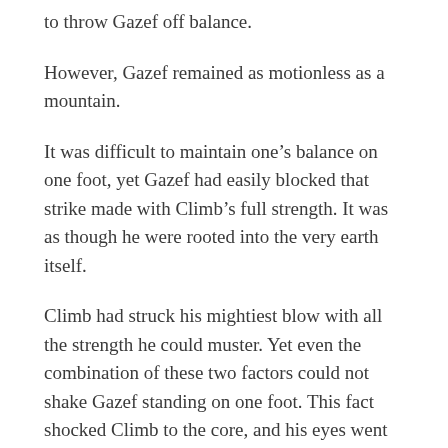to throw Gazef off balance.
However, Gazef remained as motionless as a mountain.
It was difficult to maintain one's balance on one foot, yet Gazef had easily blocked that strike made with Climb's full strength. It was as though he were rooted into the very earth itself.
Climb had struck his mightiest blow with all the strength he could muster. Yet even the combination of these two factors could not shake Gazef standing on one foot. This fact shocked Climb to the core, and his eyes went to his belly.
He had to close in to strike with his broadsword. That meant Gazef might be able to kick his gut once more.
As Climb leapt away, said kick struck Climb's body.